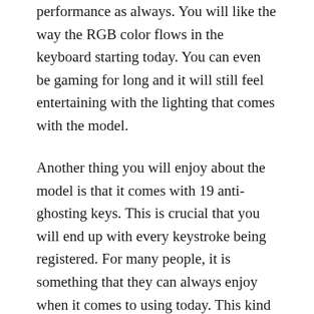performance as always. You will like the way the RGB color flows in the keyboard starting today. You can even be gaming for long and it will still feel entertaining with the lighting that comes with the model.
Another thing you will enjoy about the model is that it comes with 19 anti-ghosting keys. This is crucial that you will end up with every keystroke being registered. For many people, it is something that they can always enjoy when it comes to using today. This kind of feature is now common in many gaming keyboards on the market.
The presence of a palm rest is another top feature